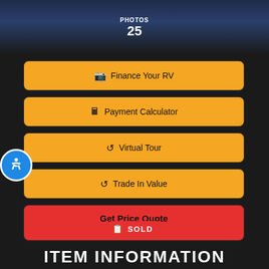[Figure (photo): Car/RV photo banner with PHOTOS 25 label on dark blue gradient background]
Finance Your RV
Payment Calculator
Virtual Tour
Trade In Value
Get Price Quote
Contact Us
SOLD
ITEM INFORMATION